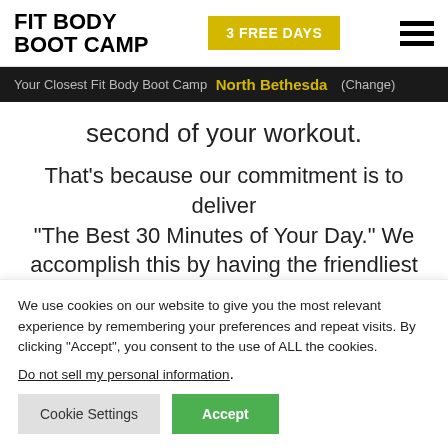[Figure (logo): Fit Body Boot Camp logo in bold black uppercase text]
3 FREE DAYS
Your Closest Fit Body Boot Camp North Bethesda (Change)
second of your workout.
That's because our commitment is to deliver "The Best 30 Minutes of Your Day." We accomplish this by having the friendliest coaches, the most positive community, and the
We use cookies on our website to give you the most relevant experience by remembering your preferences and repeat visits. By clicking "Accept", you consent to the use of ALL the cookies.
Do not sell my personal information.
Cookie Settings
Accept